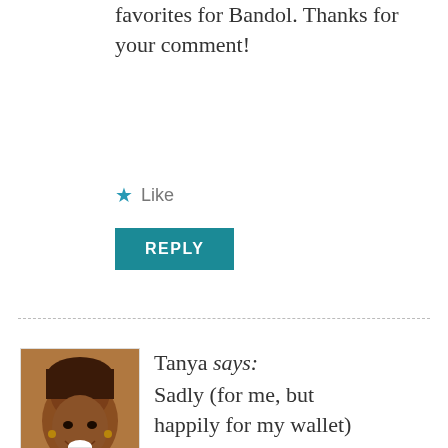favorites for Bandol. Thanks for your comment!
★ Like
REPLY
Tanya says: Sadly (for me, but happily for my wallet) we don't have a car yet so I'm travelling a little vicariously through you. I will add this to my places to visit. Like you, I am crazy about
September 1, 2011 at 2:37 pm